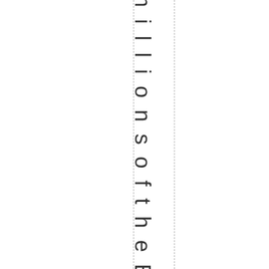n z at io n of m ill io n s u p o n m ill io n s of th e E a rt